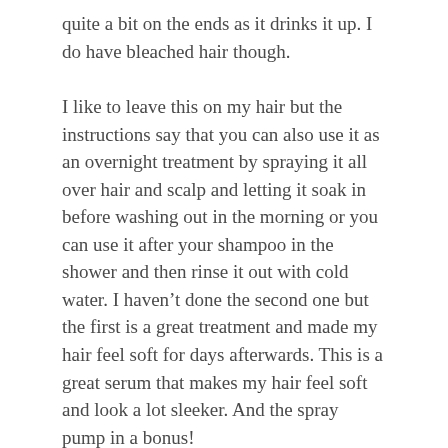quite a bit on the ends as it drinks it up. I do have bleached hair though.
I like to leave this on my hair but the instructions say that you can also use it as an overnight treatment by spraying it all over hair and scalp and letting it soak in before washing out in the morning or you can use it after your shampoo in the shower and then rinse it out with cold water. I haven't done the second one but the first is a great treatment and made my hair feel soft for days afterwards. This is a great serum that makes my hair feel soft and look a lot sleeker. And the spray pump in a bonus!
Gallinee is a very underrated natural brand if you ask me. I'd not heard of them before being sent their last lot of skincare and now I'm hooked. The cleanser wasn't for me unfortunately but I'm in love with the serum and am already looking to buy another one once this one has ran out. Their